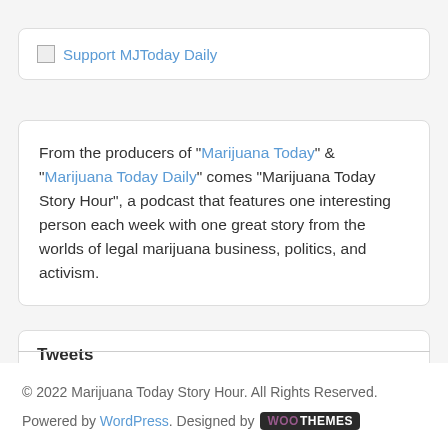[Figure (other): Broken image icon followed by 'Support MJToday Daily' link text in blue]
From the producers of "Marijuana Today" & "Marijuana Today Daily" comes "Marijuana Today Story Hour", a podcast that features one interesting person each week with one great story from the worlds of legal marijuana business, politics, and activism.
Tweets
© 2022 Marijuana Today Story Hour. All Rights Reserved. Powered by WordPress. Designed by WooThemes